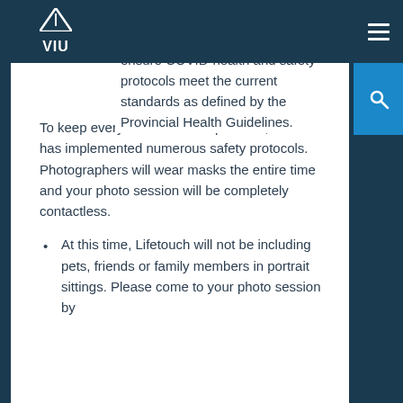Vancouver Island University has worked closely with Lifetouch to ensure COVID-health and safety protocols meet the current standards as defined by the Provincial Health Guidelines.
To keep everyone as safe as possible, Lifetouch has implemented numerous safety protocols. Photographers will wear masks the entire time and your photo session will be completely contactless.
At this time, Lifetouch will not be including pets, friends or family members in portrait sittings. Please come to your photo session by